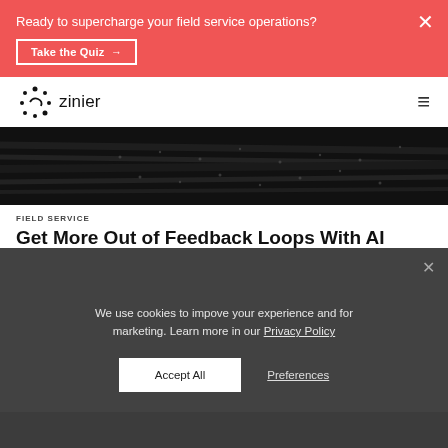Ready to supercharge your field service operations?
Take the Quiz →
[Figure (logo): Zinier logo with stylized dot-circle icon and wordmark 'zinier']
[Figure (photo): Dark textured abstract background image — appears to be closeup of dark mesh or circuit board material]
FIELD SERVICE
Get More Out of Feedback Loops With AI
We use cookies to impove your experience and for marketing. Learn more in our Privacy Policy
Accept All
Preferences
[Figure (photo): Partial view of people/office scene at bottom of page, behind cookie modal]